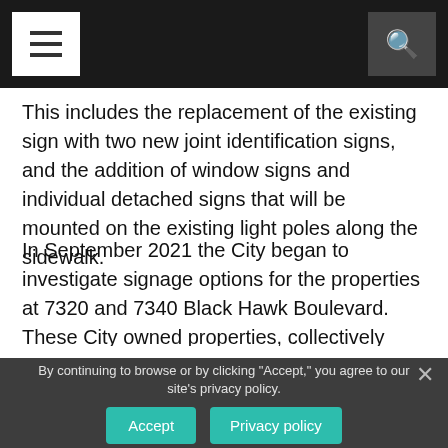Navigation bar with menu and search buttons
This includes the replacement of the existing sign with two new joint identification signs, and the addition of window signs and individual detached signs that will be mounted on the existing light poles along the sidewalk.
In September 2021 the City began to investigate signage options for the properties at 7320 and 7340 Black Hawk Boulevard. These City owned properties, collectively referred to as the Black Hawk Commons.
You have 10 free stories remaining! Please login or subscribe to continue reading!
By continuing to browse or by clicking "Accept," you agree to our site's privacy policy.